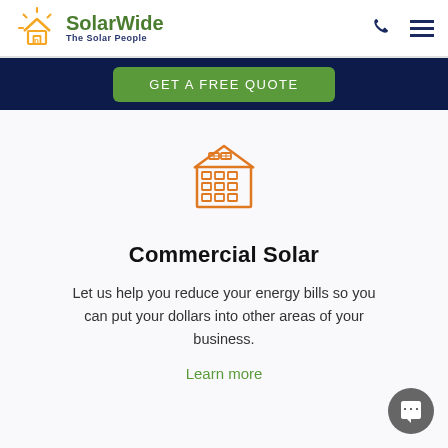SolarWide – The Solar People
GET A FREE QUOTE
[Figure (illustration): Orange line-art icon of a multi-story building with solar panels on the roof]
Commercial Solar
Let us help you reduce your energy bills so you can put your dollars into other areas of your business.
Learn more